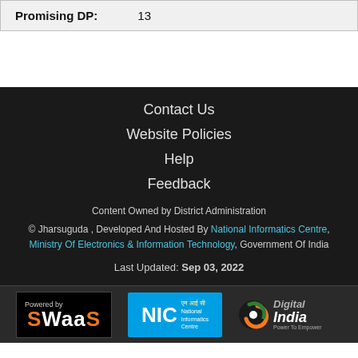| Promising DP: | 13 |
| --- | --- |
Contact Us
Website Policies
Help
Feedback
Content Owned by District Administration
© Jharsuguda , Developed And Hosted By National Informatics Centre, Ministry Of Electronics & Information Technology, Government Of India
Last Updated: Sep 03, 2022
[Figure (logo): Powered by SWaaS logo (white text on black background)]
[Figure (logo): NIC National Informatics Centre logo (white text on blue background)]
[Figure (logo): Digital India - Power To Empower logo]